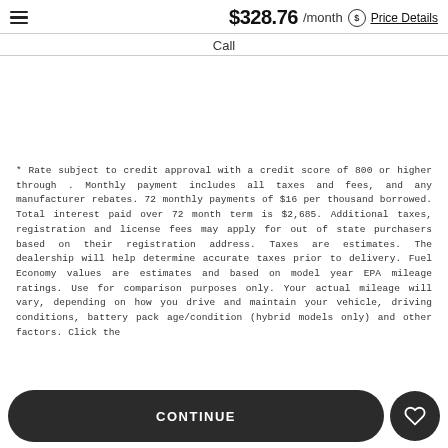$328.76 /month Price Details
Call
* Rate subject to credit approval with a credit score of 800 or higher through . Monthly payment includes all taxes and fees, and any manufacturer rebates. 72 monthly payments of $16 per thousand borrowed. Total interest paid over 72 month term is $2,685. Additional taxes, registration and license fees may apply for out of state purchasers based on their registration address. Taxes are estimates. The dealership will help determine accurate taxes prior to delivery. Fuel Economy values are estimates and based on model year EPA mileage ratings. Use for comparison purposes only. Your actual mileage will vary, depending on how you drive and maintain your vehicle, driving conditions, battery pack age/condition (hybrid models only) and other factors. Click the
CONTINUE